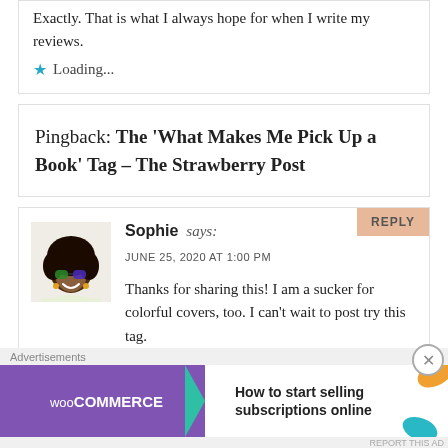Exactly. That is what I always hope for when I write my reviews.
★ Loading...
Pingback: The 'What Makes Me Pick Up a Book' Tag – The Strawberry Post
Sophie says:
JUNE 25, 2020 AT 1:00 PM
Thanks for sharing this! I am a sucker for colorful covers, too. I can't wait to post try this tag.
Advertisements
[Figure (other): WooCommerce advertisement banner: purple background with WooCommerce logo and green arrow, text 'How to start selling subscriptions online' with orange and teal decorative leaves]